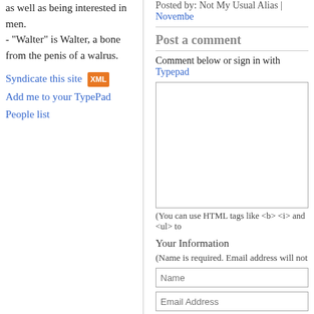as well as being interested in men.
- "Walter" is Walter, a bone from the penis of a walrus.
Syndicate this site [XML] Add me to your TypePad People list
Posted by: Not My Usual Alias | November
Post a comment
Comment below or sign in with Typepad
(You can use HTML tags like <b> <i> and <ul> to
Your Information
(Name is required. Email address will not
Name
Email Address